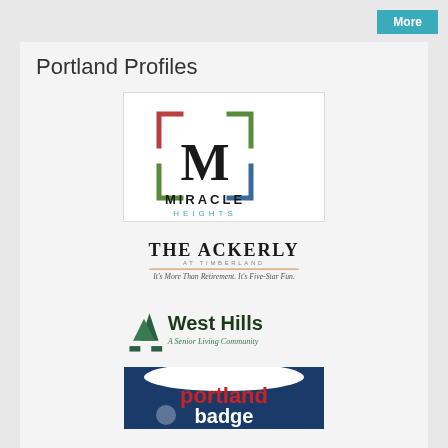More
Portland Profiles
[Figure (logo): Miracle Heights logo: stylized square bracket M with red, green, and blue corner brackets, text 'MIRACLE HEIGHTS' below]
[Figure (logo): The Ackerly at Timberland logo: bold serif text 'THE ACKERLY' with tagline 'It's More Than Retirement. It's Five-Star Fun.']
[Figure (logo): West Hills A Senior Living Community logo: green pine trees icon with text 'West Hills A Senior Living Community']
[Figure (logo): Portland Badge logo: partial view of portland badge branding with red/blue/white colors]